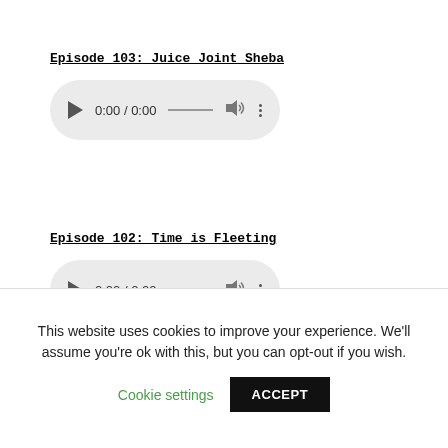Episode 103: Juice Joint Sheba
[Figure (screenshot): Audio player widget showing 0:00 / 0:00 with play button, progress bar, volume icon, and more options button]
Episode 102: Time is Fleeting
[Figure (screenshot): Audio player widget showing 0:00 / 0:00 with play button, progress bar, volume icon, and more options button]
This website uses cookies to improve your experience. We'll assume you're ok with this, but you can opt-out if you wish.
Cookie settings
ACCEPT